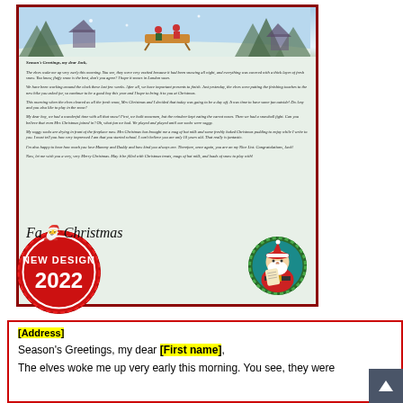[Figure (illustration): A Christmas letter preview showing a festive letter from Santa Claus with a snow scene at the top featuring elves and a sled, letter body text in italic script, a Santa Claus circular illustration in the bottom right, a cursive signature, and a red 'NEW DESIGN 2022' badge seal in the bottom left corner. The letter is bordered with a dark red frame.]
[Address]
Season's Greetings, my dear [First name],
The elves woke me up very early this morning. You see, they were